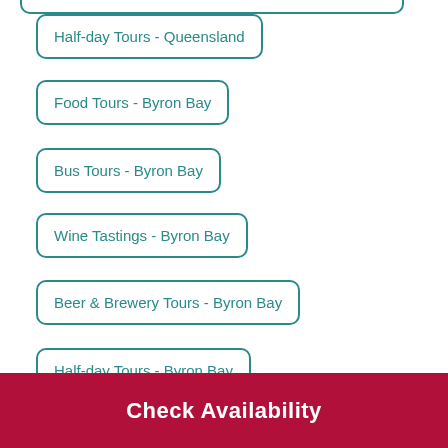Half-day Tours - Queensland
Food Tours - Byron Bay
Bus Tours - Byron Bay
Wine Tastings - Byron Bay
Beer & Brewery Tours - Byron Bay
Half-day Tours - Byron Bay
Food Tours - Noosa & Sunshine Coast
Check Availability